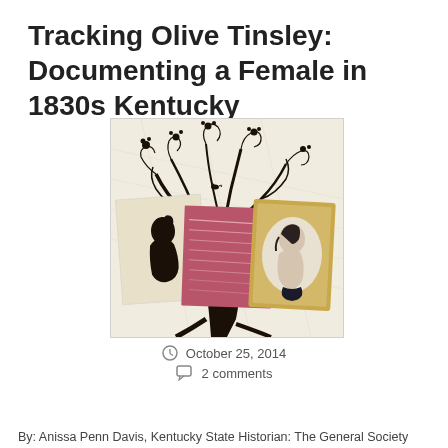Tracking Olive Tinsley: Documenting a Female in 1830s Kentucky
[Figure (illustration): A decorative genealogy illustration showing a stylized black tree with curling branches and flowers. Overlaid are: a cream-colored card with a black silhouette portrait of a woman, a pink/red aged document with cursive handwriting, and a gold-framed oval miniature portrait of a woman in profile.]
October 25, 2014
2 comments
By: Anissa Penn Davis, Kentucky State Historian: The General Society